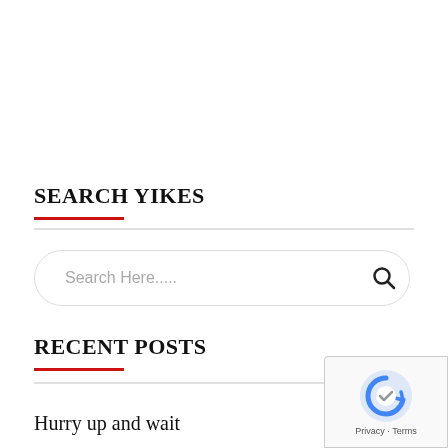SEARCH YIKES
[Figure (other): Search input box with magnifying glass icon and placeholder text 'Search Here.....']
RECENT POSTS
Hurry up and wait
[Figure (other): Google reCAPTCHA badge overlay in bottom-right corner with reCAPTCHA logo and 'Privacy - Terms' text]